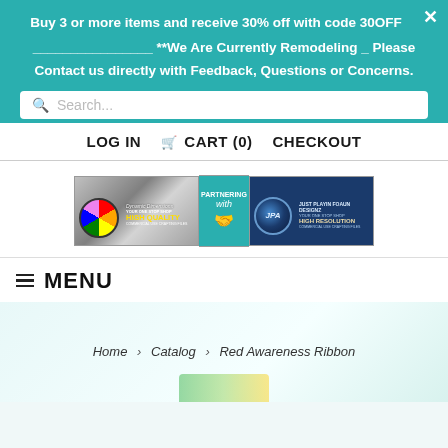Buy 3 or more items and receive 30% off with code 30OFF
**We Are Currently Remodeling _ Please Contact us directly with Feedback, Questions or Concerns.
Search...
LOG IN  🛒 CART (0)  CHECKOUT
[Figure (logo): Dynamic Dimensions and Just Playin Foaun Designz partnership banner logos]
≡ MENU
Home > Catalog > Red Awareness Ribbon